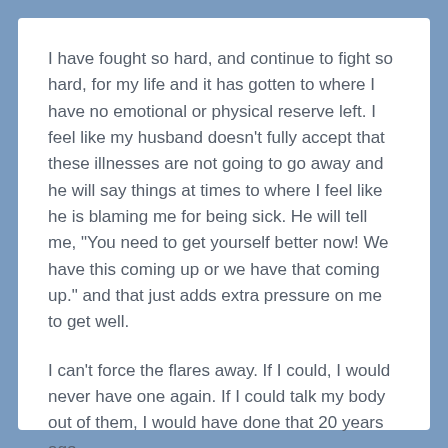I have fought so hard, and continue to fight so hard, for my life and it has gotten to where I have no emotional or physical reserve left.  I feel like my husband doesn't fully accept that these illnesses are not going to go away and he will say things at times to where I feel like he is blaming me for being sick.  He will tell me, "You need to get yourself better now!  We have this coming up or we have that coming up." and that just adds extra pressure on me to get well.
I can't force the flares away.  If I could, I would never have one again.  If I could talk my body out of them, I would have done that 20 years ago.
Thanks for listening.